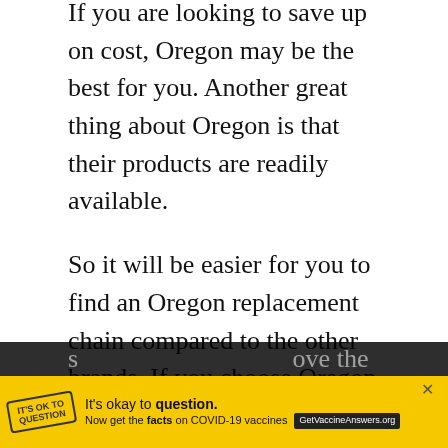If you are looking to save up on cost, Oregon may be the best for you. Another great thing about Oregon is that their products are readily available.
So it will be easier for you to find an Oregon replacement chain compared to the other brands. If you choose Oregon, you will also love the wide variety of models that can fit perfectly into any chainsaw brand.
For Husqvarna, the original chains that come with Husqvarna chainsaws are great but if you are replacing you need to choose either a
[Figure (other): Advertisement banner: yellow background with COVID-19 vaccine information ad. Text reads 'It's okay to question. Now get the facts on COVID-19 vaccines GetVaccineAnswers.org' with a close button (X).]